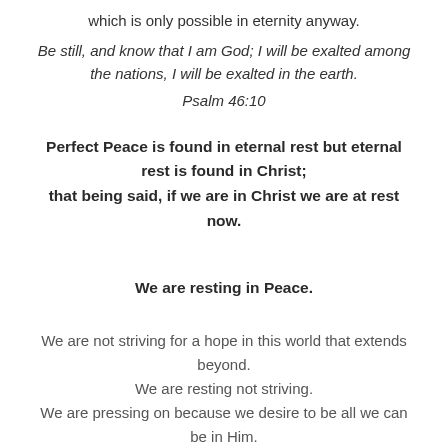which is only possible in eternity anyway.
Be still, and know that I am God; I will be exalted among the nations, I will be exalted in the earth.
Psalm 46:10
Perfect Peace is found in eternal rest but eternal rest is found in Christ; that being said, if we are in Christ we are at rest now.
We are resting in Peace.
We are not striving for a hope in this world that extends beyond. We are resting not striving. We are pressing on because we desire to be all we can be in Him.